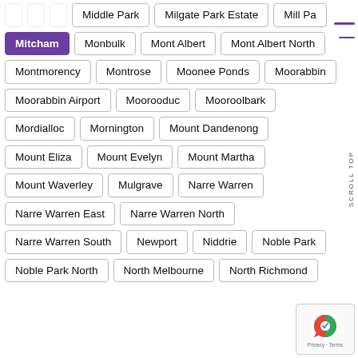Middle Park
Milgate Park Estate
Mill Pa…
Mitcham
Monbulk
Mont Albert
Mont Albert North
Montmorency
Montrose
Moonee Ponds
Moorabbin
Moorabbin Airport
Moorooduc
Mooroolbark
Mordialloc
Mornington
Mount Dandenong
Mount Eliza
Mount Evelyn
Mount Martha
Mount Waverley
Mulgrave
Narre Warren
Narre Warren East
Narre Warren North
Narre Warren South
Newport
Niddrie
Noble Park
Noble Park North
North Melbourne
North Richmond